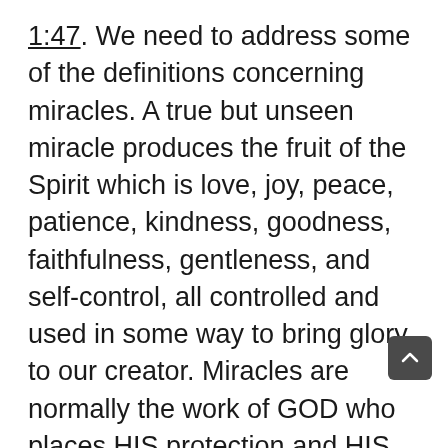1:47. We need to address some of the definitions concerning miracles. A true but unseen miracle produces the fruit of the Spirit which is love, joy, peace, patience, kindness, goodness, faithfulness, gentleness, and self-control, all controlled and used in some way to bring glory to our creator. Miracles are normally the work of GOD who places HIS protection and HIS wall of fire upon and around believers in a supernatural way.
It may not seem to be a miracle, in MAR 1:8, we read from John the Baptist: "I baptize you with water...